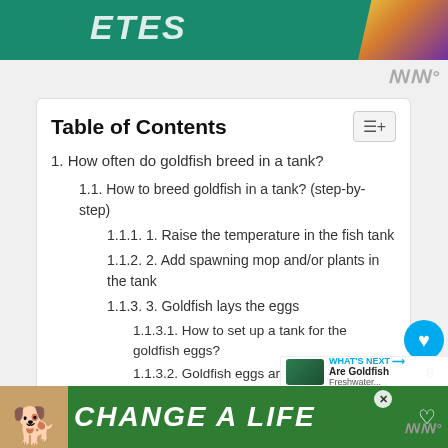[Figure (illustration): Top green banner with stylized text and colorful decorative image on right side]
Table of Contents
1. How often do goldfish breed in a tank?
1.1. How to breed goldfish in a tank? (step-by-step)
1.1.1. 1. Raise the temperature in the fish tank
1.1.2. 2. Add spawning mop and/or plants in the tank
1.1.3. 3. Goldfish lays the eggs
1.1.3.1. How to set up a tank for the goldfish eggs?
1.1.3.2. Goldfish eggs are susceptible to fungus
1.1.4. 4. Keep the tank water clean
[Figure (illustration): Bottom green advertisement banner reading CHANGE A LIFE with dog image]